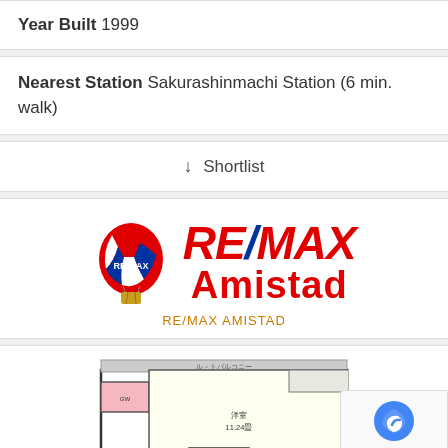Year Built 1999
Nearest Station Sakurashinmachi Station (6 min. walk)
↓ Shortlist
[Figure (logo): RE/MAX Amistad logo with hot air balloon icon and red RE/MAX Amistad text]
RE/MAX AMISTAD
[Figure (schematic): Floor plan diagram showing a room layout with Japanese text labels, including a room labeled 洋室 11.24畳]
Privacy · Terms